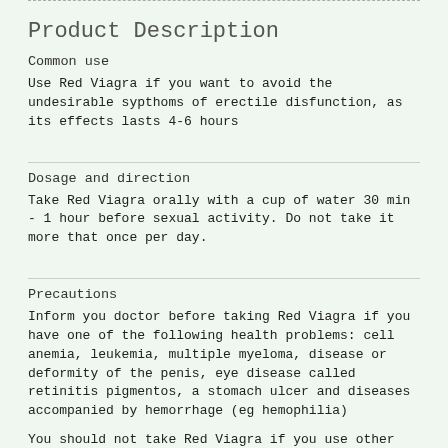Product Description
Common use
Use Red Viagra if you want to avoid the undesirable sypthoms of erectile disfunction, as its effects lasts 4-6 hours
Dosage and direction
Take Red Viagra orally with a cup of water 30 min - 1 hour before sexual activity. Do not take it more that once per day.
Precautions
Inform you doctor before taking Red Viagra if you have one of the following health problems: cell anemia, leukemia, multiple myeloma, disease or deformity of the penis, eye disease called retinitis pigmentos, a stomach ulcer and diseases accompanied by hemorrhage (eg hemophilia)
You should not take Red Viagra if you use other medications for the treatment of erectile dysfunction